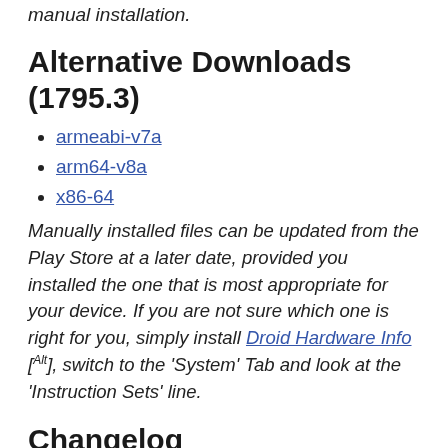manual installation.
Alternative Downloads (1795.3)
armeabi-v7a
arm64-v8a
x86-64
Manually installed files can be updated from the Play Store at a later date, provided you installed the one that is most appropriate for your device. If you are not sure which one is right for you, simply install Droid Hardware Info [Alt], switch to the 'System' Tab and look at the 'Instruction Sets' line.
Changelog
[New Feature] Add dragging item on top of other item